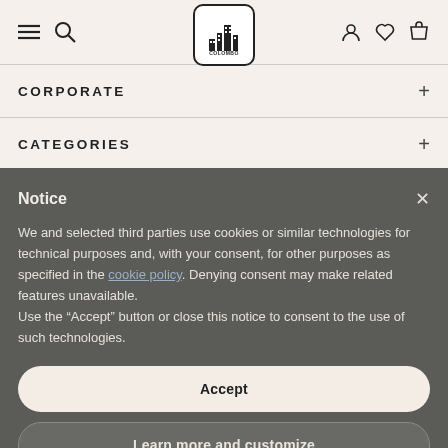[Figure (logo): Colombo brand logo in a rounded rectangle box with a building/cityscape illustration]
CORPORATE
CATEGORIES
Notice
We and selected third parties use cookies or similar technologies for technical purposes and, with your consent, for other purposes as specified in the cookie policy. Denying consent may make related features unavailable.
Use the “Accept” button or close this notice to consent to the use of such technologies.
Accept
Learn more and customize